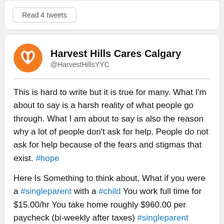Read 4 tweets
Harvest Hills Cares Calgary
@HarvestHillsYYC
This is hard to write but it is true for many. What I'm about to say is a harsh reality of what people go through. What I am about to say is also the reason why a lot of people don't ask for help. People do not ask for help because of the fears and stigmas that exist. #hope
Here Is Something to think about, What if you were a #singleparent with a #child You work full time for $15.00/hr You take home roughly $960.00 per paycheck (bi-weekly after taxes) #singleparent #parenting #Blessed
Read 25 tweets